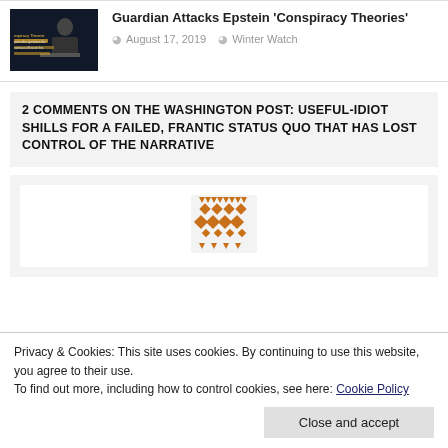[Figure (photo): Thumbnail image of a person at a desk with text overlay reading 'conspiracy theorist / anyone who questions the consensus of known liars']
Guardian Attacks Epstein ‘Conspiracy Theories’
August 17, 2019   Winter Watch
2 COMMENTS ON THE WASHINGTON POST: USEFUL-IDIOT SHILLS FOR A FAILED, FRANTIC STATUS QUO THAT HAS LOST CONTROL OF THE NARRATIVE
[Figure (illustration): Orange and brown geometric mosaic avatar/icon pattern]
Privacy & Cookies: This site uses cookies. By continuing to use this website, you agree to their use.
To find out more, including how to control cookies, see here: Cookie Policy
Charles Hugh Smith is a great guy, no doubt. He is